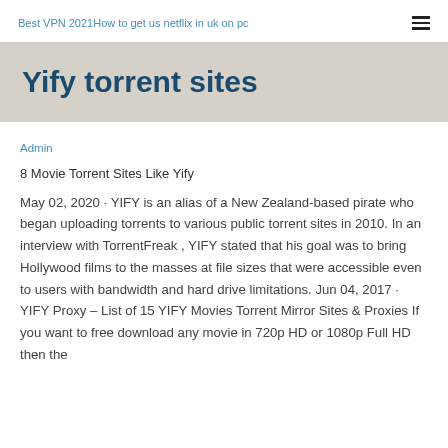Best VPN 2021How to get us netflix in uk on pc
Yify torrent sites
Admin
8 Movie Torrent Sites Like Yify
May 02, 2020 · YIFY is an alias of a New Zealand-based pirate who began uploading torrents to various public torrent sites in 2010. In an interview with TorrentFreak , YIFY stated that his goal was to bring Hollywood films to the masses at file sizes that were accessible even to users with bandwidth and hard drive limitations. Jun 04, 2017 · YIFY Proxy – List of 15 YIFY Movies Torrent Mirror Sites & Proxies If you want to free download any movie in 720p HD or 1080p Full HD then the